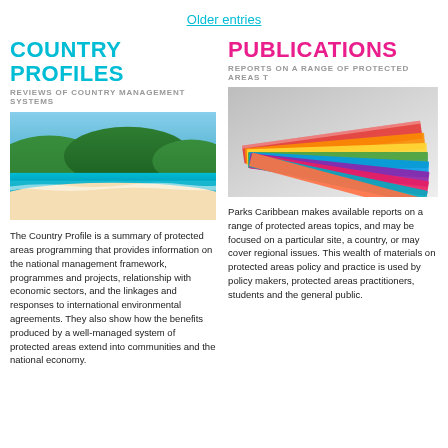Older entries
COUNTRY PROFILES
REVIEWS OF COUNTRY MANAGEMENT SYSTEMS
[Figure (photo): Tropical Caribbean beach scene with turquoise water, sandy beach, and green forested hills in the background]
The Country Profile is a summary of protected areas programming that provides information on the national management framework, programmes and projects, relationship with economic sectors, and the linkages and responses to international environmental agreements. They also show how the benefits produced by a well-managed system of protected areas extend into communities and the national economy.
PUBLICATIONS
REPORTS ON A RANGE OF PROTECTED AREAS T
[Figure (photo): Stack of colorful books or reports fanned out, showing spines in various bright colors]
Parks Caribbean makes available reports on a range of protected areas topics, and may be focused on a particular site, a country, or may cover regional issues. This wealth of materials on protected areas policy and practice is used by policy makers, protected areas practitioners, students and the general public.